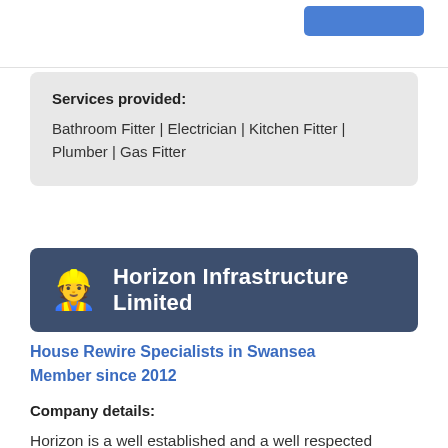Services provided: Bathroom Fitter | Electrician | Kitchen Fitter | Plumber | Gas Fitter
Horizon Infrastructure Limited
House Rewire Specialists in Swansea
Member since 2012
Company details:
Horizon is a well established and a well respected company that has bulit its reputation on installing quality. We pride ourselves on our excellent customer relations and high standards of work in whatever task we undertake. We can take a customer's vision...